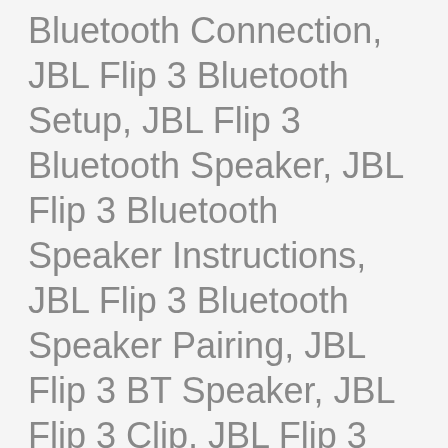Bluetooth Connection, JBL Flip 3 Bluetooth Setup, JBL Flip 3 Bluetooth Speaker, JBL Flip 3 Bluetooth Speaker Instructions, JBL Flip 3 Bluetooth Speaker Pairing, JBL Flip 3 BT Speaker, JBL Flip 3 Clip, JBL Flip 3 Connect, JBL Flip 3 Connect Bluetooth, JBL Flip 3 Connect to Bluetooth, JBL Flip 3 Details, JBL Flip 3 Flip 4, JBL Flip 3 IPX, JBL Flip 3 Mini,